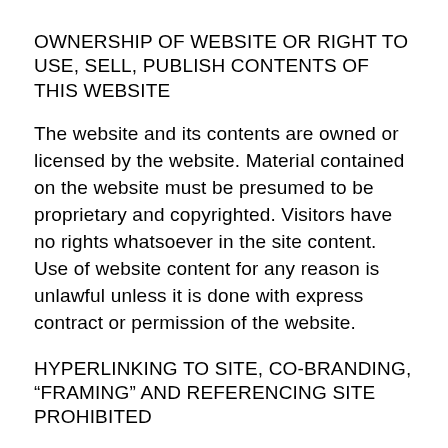OWNERSHIP OF WEBSITE OR RIGHT TO USE, SELL, PUBLISH CONTENTS OF THIS WEBSITE
The website and its contents are owned or licensed by the website. Material contained on the website must be presumed to be proprietary and copyrighted. Visitors have no rights whatsoever in the site content. Use of website content for any reason is unlawful unless it is done with express contract or permission of the website.
HYPERLINKING TO SITE, CO-BRANDING, “FRAMING” AND REFERENCING SITE PROHIBITED
Unless expressly authorized by website, no one